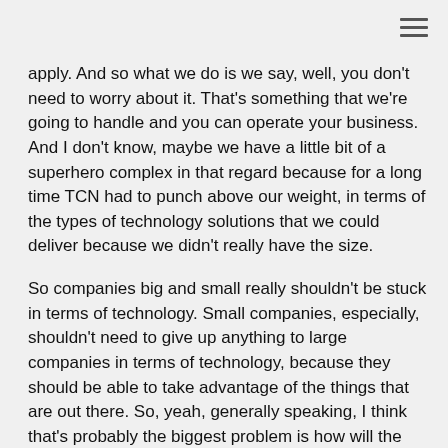apply. And so what we do is we say, well, you don't need to worry about it. That's something that we're going to handle and you can operate your business. And I don't know, maybe we have a little bit of a superhero complex in that regard because for a long time TCN had to punch above our weight, in terms of the types of technology solutions that we could deliver because we didn't really have the size.
So companies big and small really shouldn't be stuck in terms of technology. Small companies, especially, shouldn't need to give up anything to large companies in terms of technology, because they should be able to take advantage of the things that are out there. So, yeah, generally speaking, I think that's probably the biggest problem is how will the industry manage complexity?
The world's constantly changing and it's changing under constant acceleration. And I'm not sure we have the terminal velocity. I don't know where that terminal velocity is. You know, the thing with gravity is you accelerate until you reach that terminal velocity. I don't know if we're going to hit it. I